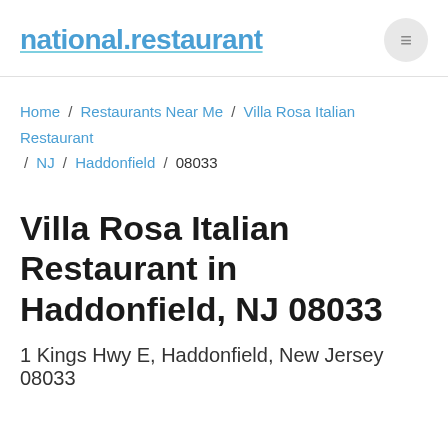national.restaurant
Home / Restaurants Near Me / Villa Rosa Italian Restaurant / NJ / Haddonfield / 08033
Villa Rosa Italian Restaurant in Haddonfield, NJ 08033
1 Kings Hwy E, Haddonfield, New Jersey 08033